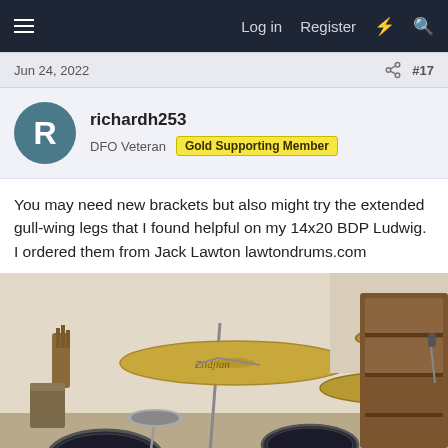Log in  Register
Jun 24, 2022  #17
richardh253
DFO Veteran  Gold Supporting Member
You may need new brackets but also might try the extended gull-wing legs that I found helpful on my 14x20 BDP Ludwig. I ordered them from Jack Lawton lawtondrums.com
[Figure (photo): Drum kit setup photo showing cymbals on stands (Zildjian visible), kick drum, and other drum components in a room setting]